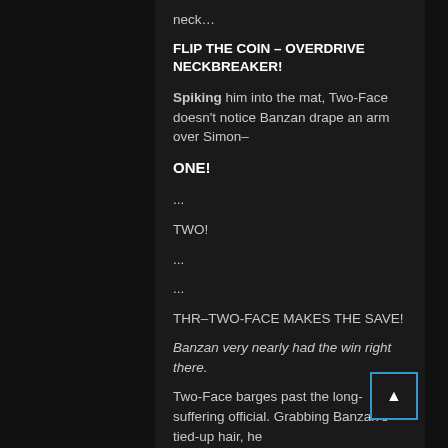neck…
FLIP THE COIN – OVERDRIVE NECKBREAKER!
Spiking him into the mat, Two-Face doesn't notice Banzan drape an arm over Simon–
ONE!
...
TWO!
...
...
THR–TWO-FACE MAKES THE SAVE!
Banzan very nearly had the win right there.
Two-Face barges past the long-suffering official. Grabbing Banzan's tied-up hair, he